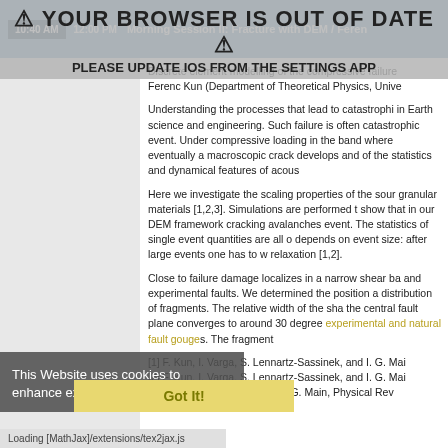10:40 AM   12:00 PM   Morning Session II: Fracture with DEM / Feren
YOUR BROWSER IS OUT OF DATE ⚠
PLEASE UPDATE IOS FROM THE SETTINGS APP
Discrete element modelling of the compressive failure...
Ferenc Kun (Department of Theoretical Physics, Unive...
Understanding the processes that lead to catastrophi... in Earth science and engineering. Such failure is often... catastrophic event. Under compressive loading in the... band where eventually a macroscopic crack develops... and of the statistics and dynamical features of acous...
Here we investigate the scaling properties of the sour... granular materials [1,2,3]. Simulations are performed t... show that in our DEM framework cracking avalanches... event. The statistics of single event quantities are all o... depends on event size: after large events one has to w... relaxation [1,2].
Close to failure damage localizes in a narrow shear ba... and experimental faults. We determined the position a... distribution of fragments. The relative width of the sha... the central fault plane converges to around 30 degree... experimental and natural fault gouges. The fragment...
[1] F. Kun, I. Varga, S. Lennartz-Sassinek, and I. G. Mai...
[2] F. Kun, I. Varga, S. Lennartz-Sassinek, and I. G. Mai...
[3] ...I, Z. Janosi, F. Kun, and I.G. Main, Physical Rev...
This Website uses cookies to enhance experience.  Legal Notice
Got It!
Loading [MathJax]/extensions/tex2jax.js